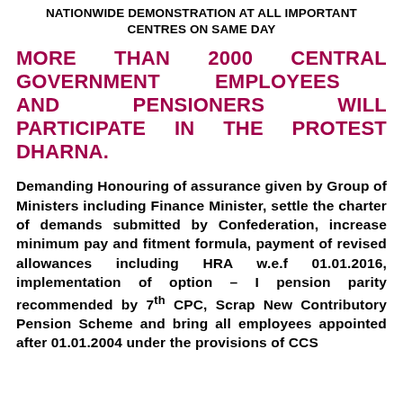NATIONWIDE DEMONSTRATION AT ALL IMPORTANT CENTRES ON SAME DAY
MORE THAN 2000 CENTRAL GOVERNMENT EMPLOYEES AND PENSIONERS WILL PARTICIPATE IN THE PROTEST DHARNA.
Demanding Honouring of assurance given by Group of Ministers including Finance Minister, settle the charter of demands submitted by Confederation, increase minimum pay and fitment formula, payment of revised allowances including HRA w.e.f 01.01.2016, implementation of option – I pension parity recommended by 7th CPC, Scrap New Contributory Pension Scheme and bring all employees appointed after 01.01.2004 under the provisions of CCS